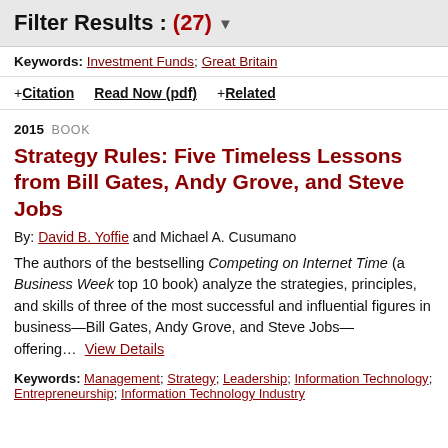Filter Results : (27)
Keywords: Investment Funds; Great Britain
+ Citation   Read Now (pdf)   + Related
2015  BOOK
Strategy Rules: Five Timeless Lessons from Bill Gates, Andy Grove, and Steve Jobs
By: David B. Yoffie and Michael A. Cusumano
The authors of the bestselling Competing on Internet Time (a Business Week top 10 book) analyze the strategies, principles, and skills of three of the most successful and influential figures in business—Bill Gates, Andy Grove, and Steve Jobs—offering... View Details
Keywords: Management; Strategy; Leadership; Information Technology; Entrepreneurship; Information Technology Industry